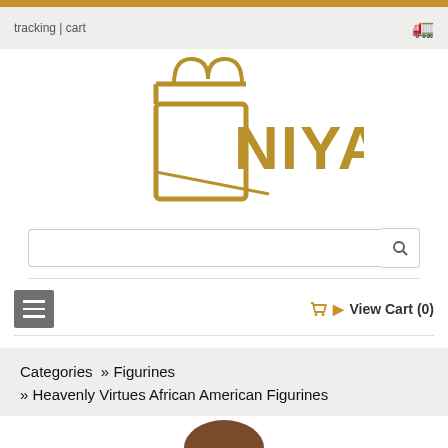tracking | cart
[Figure (logo): NIYAE shopping bag logo in gold/brown color with stylized shopping bag icon]
View Cart (0)
Categories » Figurines » Heavenly Virtues African American Figurines
[Figure (photo): Partial view of an African American figurine head, bottom of page]